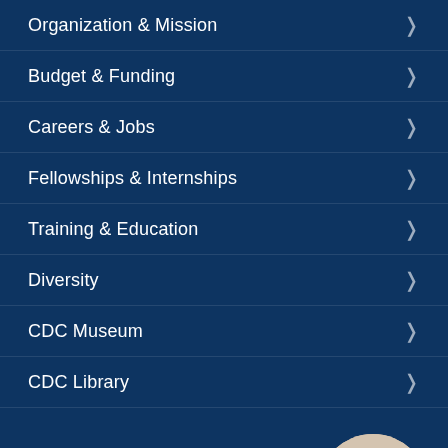Organization & Mission
Budget & Funding
Careers & Jobs
Fellowships & Internships
Training & Education
Diversity
CDC Museum
CDC Library
CDC DIRECTOR
Rochelle P. Walensky
[Figure (photo): Circular portrait photo of CDC Director Rochelle P. Walensky, a woman with dark hair, smiling, in professional setting]